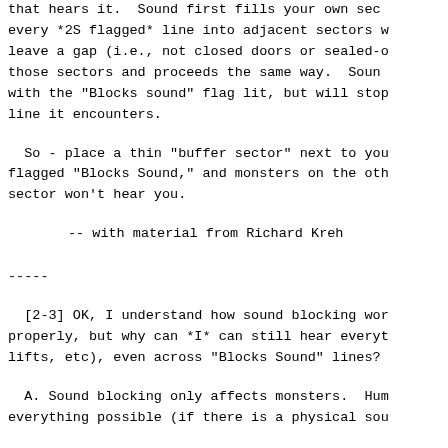that hears it.  Sound first fills your own sector, every *2S flagged* line into adjacent sectors which leave a gap (i.e., not closed doors or sealed-off those sectors and proceeds the same way.  Sound with the "Blocks sound" flag lit, but will stop any line it encounters.
So - place a thin "buffer sector" next to your flagged "Blocks Sound," and monsters on the other sector won't hear you.
-- with material from Richard Kreh
-----
[2-3] OK, I understand how sound blocking works properly, but why can *I* can still hear everything (lifts, etc), even across "Blocks Sound" lines?
A. Sound blocking only affects monsters.  Humans hear everything possible (if there is a physical sound